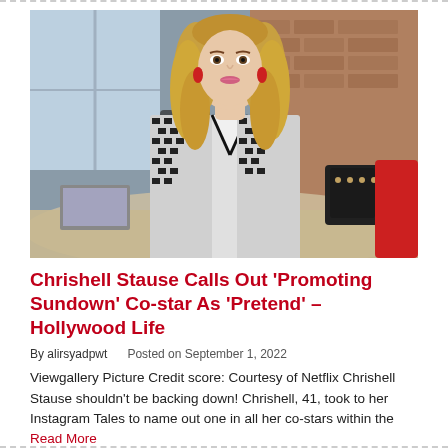[Figure (photo): A woman with long blonde hair wearing a black and white houndstooth patterned blazer with white V-neck trim and red drop earrings, seated at a restaurant or café table. Background shows other diners and a brick wall.]
Chrishell Stause Calls Out 'Promoting Sundown' Co-star As 'Pretend' – Hollywood Life
By alirsyadpwt   Posted on September 1, 2022
Viewgallery Picture Credit score: Courtesy of Netflix Chrishell Stause shouldn't be backing down! Chrishell, 41, took to her Instagram Tales to name out one in all her co-stars within the Read More